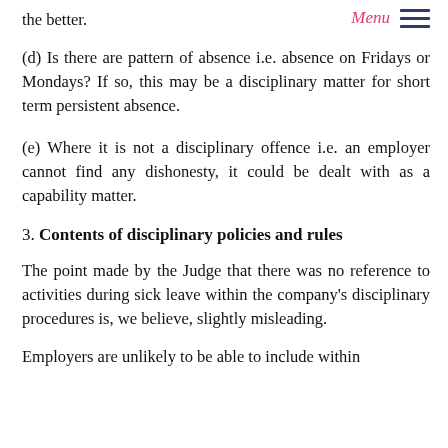the better.
Menu
(d) Is there are pattern of absence i.e. absence on Fridays or Mondays? If so, this may be a disciplinary matter for short term persistent absence.
(e) Where it is not a disciplinary offence i.e. an employer cannot find any dishonesty, it could be dealt with as a capability matter.
3. Contents of disciplinary policies and rules
The point made by the Judge that there was no reference to activities during sick leave within the company's disciplinary procedures is, we believe, slightly misleading.
Employers are unlikely to be able to include within